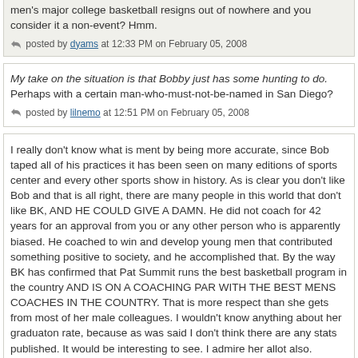men's major college basketball resigns out of nowhere and you consider it a non-event? Hmm.
posted by dyams at 12:33 PM on February 05, 2008
My take on the situation is that Bobby just has some hunting to do. Perhaps with a certain man-who-must-not-be-named in San Diego?
posted by lilnemo at 12:51 PM on February 05, 2008
I really don't know what is ment by being more accurate, since Bob taped all of his practices it has been seen on many editions of sports center and every other sports show in history. As is clear you don't like Bob and that is all right, there are many people in this world that don't like BK, AND HE COULD GIVE A DAMN. He did not coach for 42 years for an approval from you or any other person who is apparently biased. He coached to win and develop young men that contributed something positive to society, and he accomplished that. By the way BK has confirmed that Pat Summit runs the best basketball program in the country AND IS ON A COACHING PAR WITH THE BEST MENS COACHES IN THE COUNTRY. That is more respect than she gets from most of her male colleagues. I wouldn't know anything about her graduaton rate, because as was said I don't think there are any stats published. It would be interesting to see. I admire her allot also.
posted by sportnut at 01:32 PM on February 05, 2008